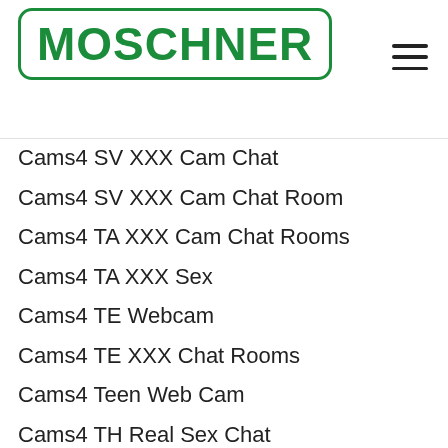MOSCHNER
Cams4 SV XXX Cam Chat
Cams4 SV XXX Cam Chat Room
Cams4 TA XXX Cam Chat Rooms
Cams4 TA XXX Sex
Cams4 TE Webcam
Cams4 TE XXX Chat Rooms
Cams4 Teen Web Cam
Cams4 TH Real Sex Chat
Cams4 TH Webcam Chat Room
Cams4 TL Web Cam Chat
Cams4 TL Webcam Chat
Cams4 TR Web Cams Chat